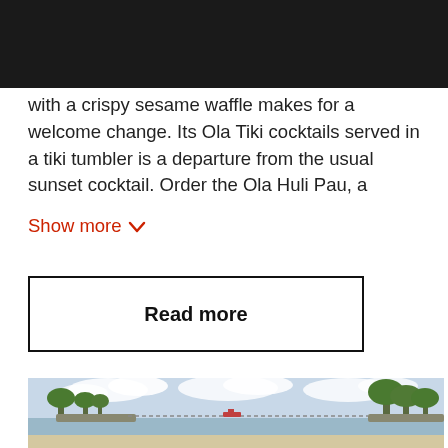[Figure (photo): Black bar at top of page, partial image obscured]
with a crispy sesame waffle makes for a welcome change. Its Ola Tiki cocktails served in a tiki tumbler is a departure from the usual sunset cocktail. Order the Ola Huli Pau, a
Show more ∨
Read more
[Figure (photo): Outdoor beach and waterway scene with trees, sandy shore, calm water, and a causeway or bridge structure in the background under cloudy skies]